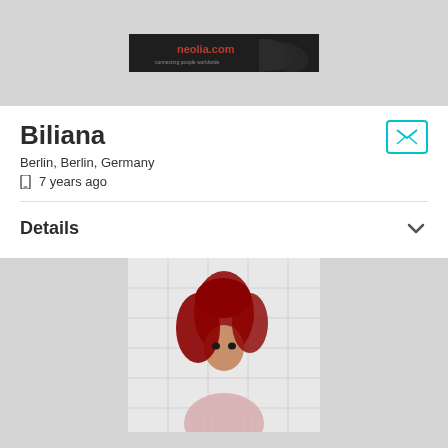[Figure (photo): Dark banner image with website logo/text 'neolia.com' on dark background]
Biliana
Berlin, Berlin, Germany
7 years ago
Details
[Figure (photo): Woman with red hair photographed against a white tiled wall]